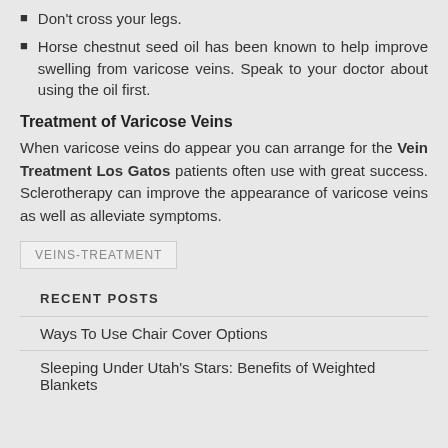Don't cross your legs.
Horse chestnut seed oil has been known to help improve swelling from varicose veins. Speak to your doctor about using the oil first.
Treatment of Varicose Veins
When varicose veins do appear you can arrange for the Vein Treatment Los Gatos patients often use with great success. Sclerotherapy can improve the appearance of varicose veins as well as alleviate symptoms.
VEINS-TREATMENT
RECENT POSTS
Ways To Use Chair Cover Options
Sleeping Under Utah's Stars: Benefits of Weighted Blankets